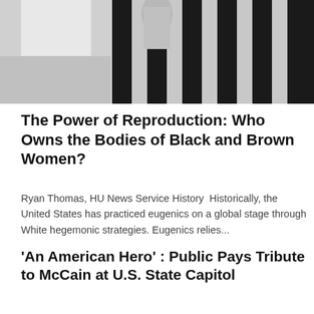[Figure (photo): Black and white photo showing vertical bars, possibly a fence or gate structure]
The Power of Reproduction: Who Owns the Bodies of Black and Brown Women?
Ryan Thomas, HU News Service History  Historically, the United States has practiced eugenics on a global stage through White hegemonic strategies. Eugenics relies...
'An American Hero' : Public Pays Tribute to McCain at U.S. State Capitol
[caption id="attachment_6871" align="alignnone" width="525"] Mourners stay for hours outside the Capital waiting to pay their respect to Senator John McCain. Photo...
[Figure (photo): Photo of a person holding a small American flag, partially cropped at bottom of page]